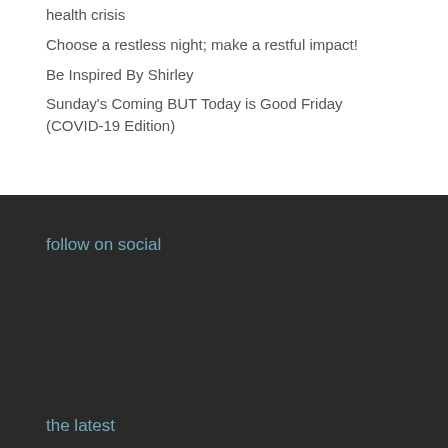health crisis
Choose a restless night; make a restful impact!
Be Inspired By Shirley
Sunday's Coming BUT Today is Good Friday (COVID-19 Edition)
follow on social
the latest